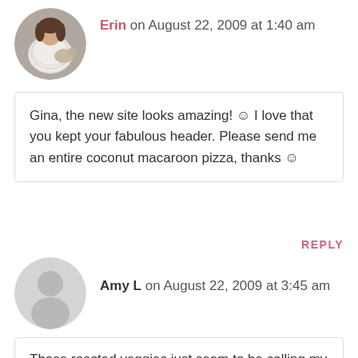[Figure (photo): Avatar of Erin - woman in fluffy white coat holding a dog, circular photo]
Erin on August 22, 2009 at 1:40 am
Gina, the new site looks amazing! 🙂 I love that you kept your fabulous header. Please send me an entire coconut macaroon pizza, thanks 🙂
REPLY
[Figure (illustration): Generic grey user avatar silhouette, circular]
Amy L on August 22, 2009 at 3:45 am
Those roasted veggies just seem to be calling my name!!!!!!!
Ok, dumb question.. but exactly how do you roast veggies.. And what veggies are best roasted? I have